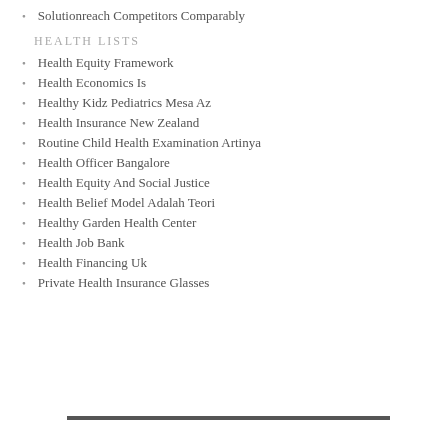Solutionreach Competitors Comparably
HEALTH LISTS
Health Equity Framework
Health Economics Is
Healthy Kidz Pediatrics Mesa Az
Health Insurance New Zealand
Routine Child Health Examination Artinya
Health Officer Bangalore
Health Equity And Social Justice
Health Belief Model Adalah Teori
Healthy Garden Health Center
Health Job Bank
Health Financing Uk
Private Health Insurance Glasses